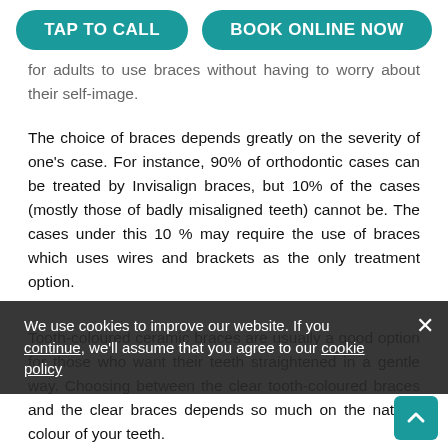TAP TO CALL | BOOK ONLINE NOW
for adults to use braces without having to worry about their self-image.
The choice of braces depends greatly on the severity of one's case. For instance, 90% of orthodontic cases can be treated by Invisalign braces, but 10% of the cases (mostly those of badly misaligned teeth) cannot be. The cases under this 10 % may require the use of braces which uses wires and brackets as the only treatment option.
Tooth-coloured ceramic braces are usually a good option for those who want their teeth straightened in a gentle way. Choosing between the clear tooth-coloured braces and the clear braces depends so much on the natural colour of your teeth.
The clear transparent braces often seem good for those with teeth that are naturally light and bright because the braces will be noticed on them while those with a darker colour of
We use cookies to improve our website. If you continue, we'll assume that you agree to our cookie policy